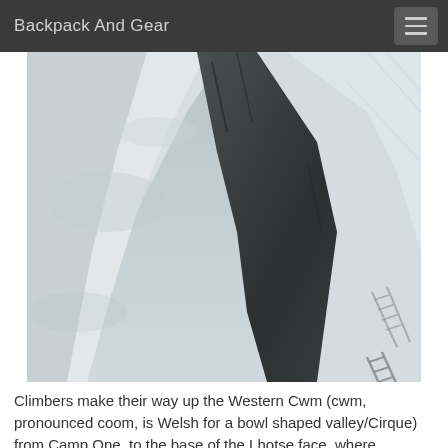Backpack And Gear
[Figure (photo): Black and white aerial or close-up photograph of climbers making their way up the Western Cwm on a glacier/snowfield, with deep crevasses and ladder crossings visible. The image shows a dramatic dark crevasse cutting diagonally through white snow/ice, with a climber and a ladder visible on the right side.]
Climbers make their way up the Western Cwm (cwm, pronounced coom, is Welsh for a bowl shaped valley/Cirque) from Camp One, to the base of the Lhotse face, where Advanced Base Camp or